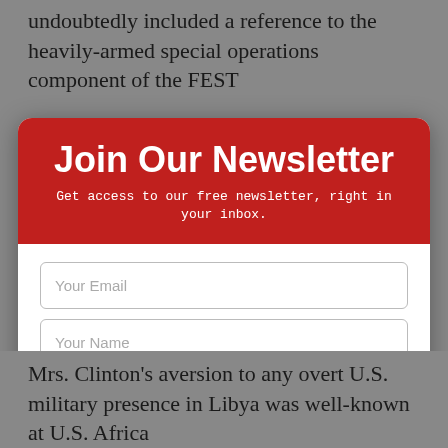undoubtedly included a reference to the heavily-armed special operations component of the FEST
Join Our Newsletter
Get access to our free newsletter, right in your inbox.
Your Email
Your Name
Sign-up Now
Sorry, I don't have an email address
Mrs. Clinton's aversion to any overt U.S. military presence in Libya was well-known at U.S. Africa